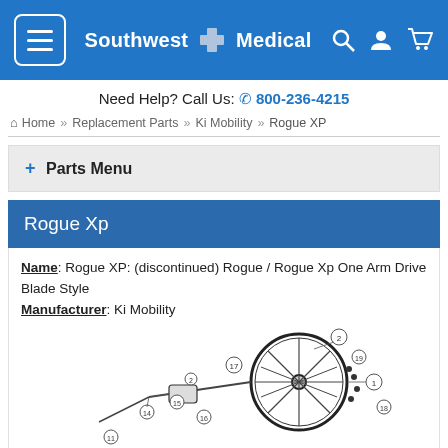Southwest Medical — Navigation header with menu, logo, search, account, and cart icons
Need Help? Call Us: 800-236-4215
Home » Replacement Parts » Ki Mobility » Rogue XP
+ Parts Menu
Rogue Xp
Name: Rogue XP: (discontinued) Rogue / Rogue Xp One Arm Drive Blade Style
Manufacturer: Ki Mobility
[Figure (engineering-diagram): Parts diagram of Rogue XP wheelchair components including wheel assembly with numbered parts labels (1, 2, 14, 15, 16, 17, 18, 19 and others)]